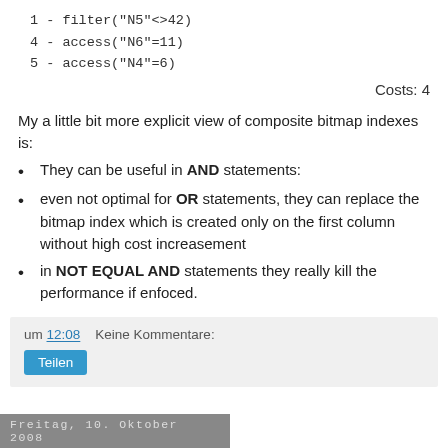1 - filter("N5"<>42)
4 - access("N6"=11)
5 - access("N4"=6)
Costs: 4
My a little bit more explicit view of composite bitmap indexes is:
They can be useful in AND statements:
even not optimal for OR statements, they can replace the bitmap index which is created only on the first column without high cost increasement
in NOT EQUAL AND statements they really kill the performance if enfoced.
um 12:08    Keine Kommentare:
Teilen
Freitag, 10. Oktober 2008